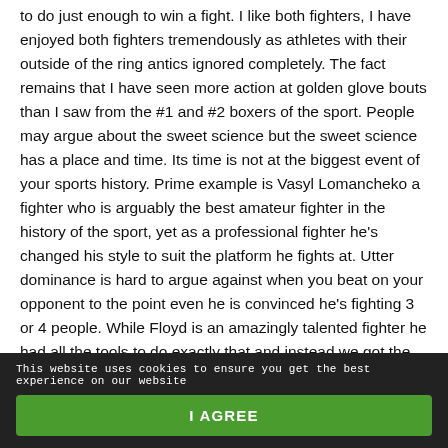to do just enough to win a fight. I like both fighters, I have enjoyed both fighters tremendously as athletes with their outside of the ring antics ignored completely. The fact remains that I have seen more action at golden glove bouts than I saw from the #1 and #2 boxers of the sport. People may argue about the sweet science but the sweet science has a place and time. Its time is not at the biggest event of your sports history. Prime example is Vasyl Lomancheko a fighter who is arguably the best amateur fighter in the history of the sport, yet as a professional fighter he's changed his style to suit the platform he fights at. Utter dominance is hard to argue against when you beat on your opponent to the point even he is convinced he's fighting 3 or 4 people. While Floyd is an amazingly talented fighter he had all the tools to do exactly that and instead we got the opposite. How are you such a big man and yet so cautious as to not even want to get in the pocket and trade with a man who looks so inferior to you physically? For all the arguments of greatest ever, he sure didn't look like it last night.
This website uses cookies to ensure you get the best experience on our website
I AGREE